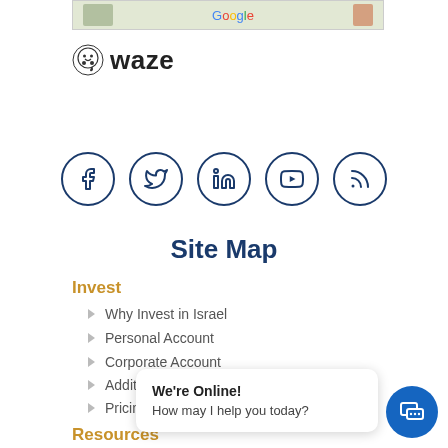[Figure (screenshot): Google Maps strip at top of page]
[Figure (logo): Waze logo with icon and wordmark]
[Figure (infographic): Row of 5 social media icons: Facebook, Twitter, LinkedIn, YouTube, RSS]
Site Map
Invest
Why Invest in Israel
Personal Account
Corporate Account
Additional Services
Pricing
Resources
Articles
We're Online!
How may I help you today?